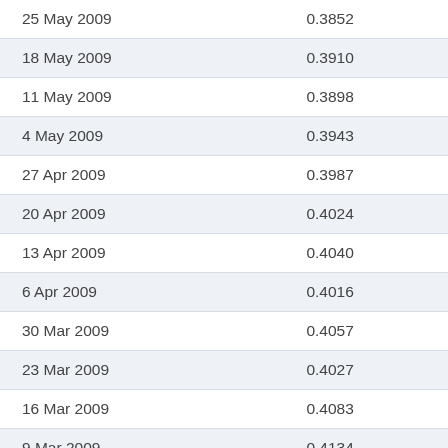| 25 May 2009 | 0.3852 |
| 18 May 2009 | 0.3910 |
| 11 May 2009 | 0.3898 |
| 4 May 2009 | 0.3943 |
| 27 Apr 2009 | 0.3987 |
| 20 Apr 2009 | 0.4024 |
| 13 Apr 2009 | 0.4040 |
| 6 Apr 2009 | 0.4016 |
| 30 Mar 2009 | 0.4057 |
| 23 Mar 2009 | 0.4027 |
| 16 Mar 2009 | 0.4083 |
| 9 Mar 2009 | 0.4134 |
| 2 Mar 2009 | 0.4148 |